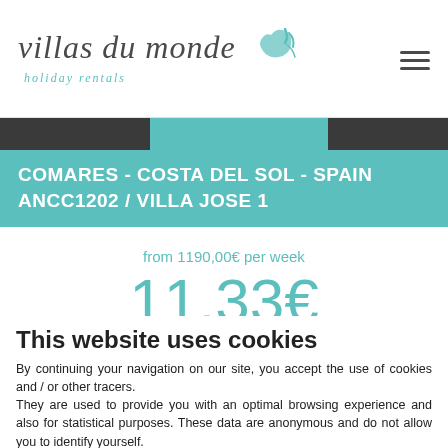[Figure (logo): Villas du Monde holiday rentals logo with sun graphic]
COMARES - COSTA DEL SOL - SPAIN ANCC1202 / VILLA JOSE 1
from 1190,00€ per week
11,33€
/ day and / person when full
This website uses cookies
By continuing your navigation on our site, you accept the use of cookies and / or other tracers.
They are used to provide you with an optimal browsing experience and also for statistical purposes. These data are anonymous and do not allow you to identify yourself.
I agree
Read more